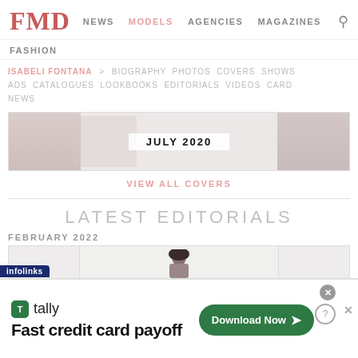FMD | NEWS | MODELS | AGENCIES | MAGAZINES | FASHION
ISABELI FONTANA > BIOGRAPHY PHOTOS COVERS SHOWS ADS CATALOGUES LOOKBOOKS EDITORIALS VIDEOS CARD NEWS
[Figure (photo): Magazine cover preview for July 2020 with faded model imagery]
JULY 2020
VIEW ALL COVERS
LATEST EDITORIALS
FEBRUARY 2022
[Figure (photo): Editorial image showing a model with an afro hairstyle]
[Figure (screenshot): Infolinks advertisement banner for Tally app - Fast credit card payoff with Download Now button]